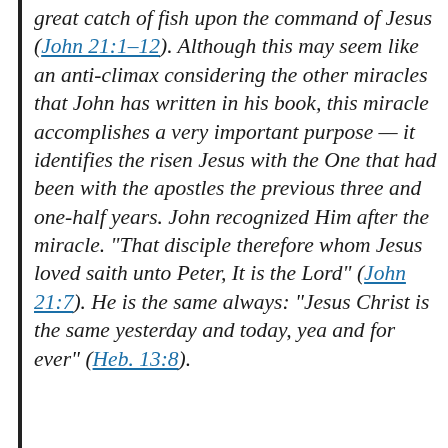great catch of fish upon the command of Jesus (John 21:1–12). Although this may seem like an anti-climax considering the other miracles that John has written in his book, this miracle accomplishes a very important purpose — it identifies the risen Jesus with the One that had been with the apostles the previous three and one-half years. John recognized Him after the miracle. “That disciple therefore whom Jesus loved saith unto Peter, It is the Lord” (John 21:7). He is the same always: “Jesus Christ is the same yesterday and today, yea and for ever” (Heb. 13:8).